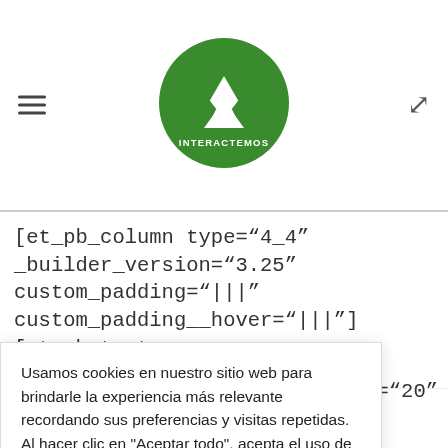[Figure (logo): Interactemos logo — green circle with white mountain/figure icon and text INTERACTEMOS]
[et_pb_column type="4_4" _builder_version="3.25" custom_padding="|||" custom_padding__hover="|||"][et_pb_text admin_label="Text" _builder_version="4.3.4" text_font="PT Serif|||"
nt_size="20"
Usamos cookies en nuestro sitio web para brindarle la experiencia más relevante recordando sus preferencias y visitas repetidas. Al hacer clic en "Aceptar todo", acepta el uso de TODAS las cookies.
Aceptar todo
hover enabled="0" text_font_size_tablet=""